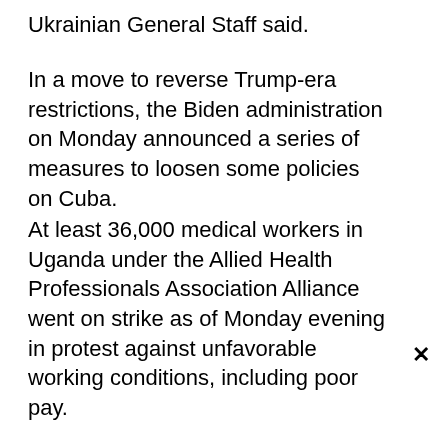Ukrainian General Staff said.
In a move to reverse Trump-era restrictions, the Biden administration on Monday announced a series of measures to loosen some policies on Cuba.
At least 36,000 medical workers in Uganda under the Allied Health Professionals Association Alliance went on strike as of Monday evening in protest against unfavorable working conditions, including poor pay.